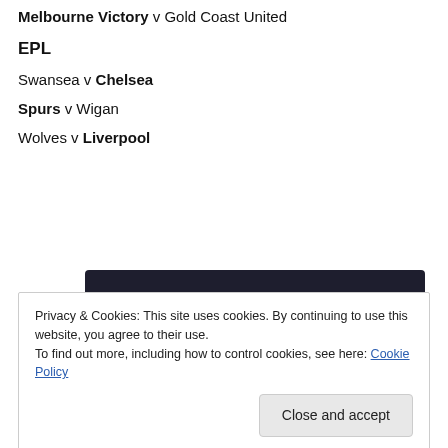Melbourne Victory v Gold Coast United
EPL
Swansea v Chelsea
Spurs v Wigan
Wolves v Liverpool
[Figure (other): Dark banner advertisement with a teal 'Learn More' button]
Privacy & Cookies: This site uses cookies. By continuing to use this website, you agree to their use.
To find out more, including how to control cookies, see here: Cookie Policy
Close and accept